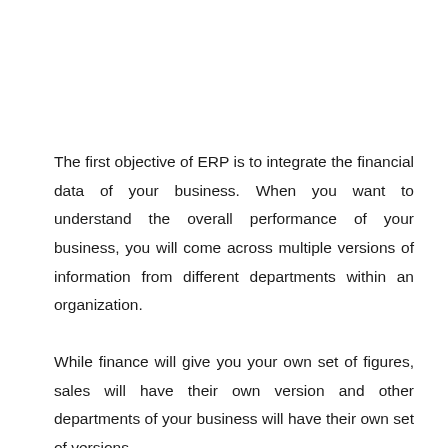The first objective of ERP is to integrate the financial data of your business. When you want to understand the overall performance of your business, you will come across multiple versions of information from different departments within an organization.
While finance will give you your own set of figures, sales will have their own version and other departments of your business will have their own set of versions.